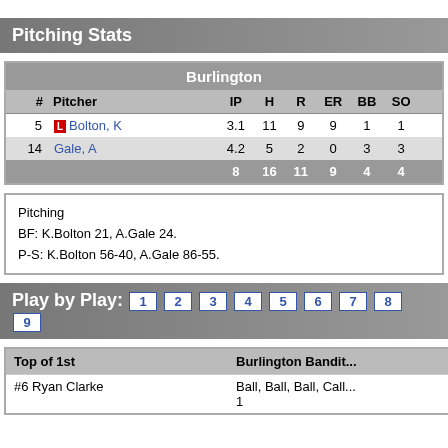Pitching Stats
| # | Pitcher | IP | H | R | ER | BB | SO |
| --- | --- | --- | --- | --- | --- | --- | --- |
| 5 | L Bolton, K | 3.1 | 11 | 9 | 9 | 1 | 1 |
| 14 | Gale, A | 4.2 | 5 | 2 | 0 | 3 | 3 |
|  |  | 8 | 16 | 11 | 9 | 4 | 4 |
Pitching
BF: K.Bolton 21, A.Gale 24.
P-S: K.Bolton 56-40, A.Gale 86-55.
Play by Play: 1 2 3 4 5 6 7 8 9
| Top of 1st | Burlington Bandits |
| --- | --- |
| #6 Ryan Clarke | Ball, Ball, Ball, Call... 1 |